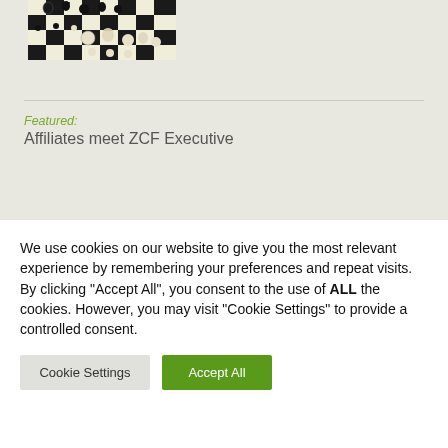[Figure (photo): Chess board with black and white chess pieces arranged for a game, photographed from above-side angle]
Featured:
Affiliates meet ZCF Executive
We use cookies on our website to give you the most relevant experience by remembering your preferences and repeat visits. By clicking “Accept All”, you consent to the use of ALL the cookies. However, you may visit "Cookie Settings" to provide a controlled consent.